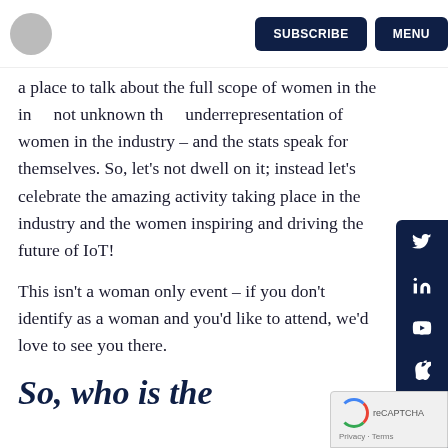SUBSCRIBE  MENU
a place to talk about the full scope of women in the in... not unknown th... underrepresentation of women in the industry – and the stats speak for themselves. So, let's not dwell on it; instead let's celebrate the amazing activity taking place in the industry and the women inspiring and driving the future of IoT!
This isn't a woman only event – if you don't identify as a woman and you'd like to attend, we'd love to see you there.
So, who is the future of…